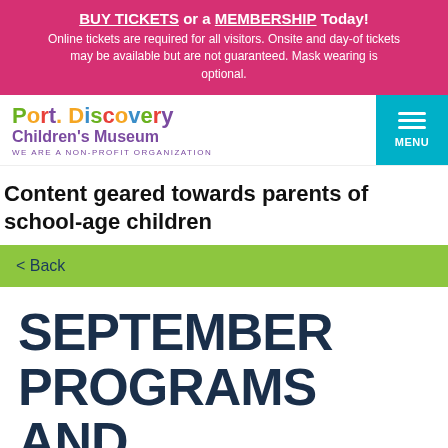BUY TICKETS or a MEMBERSHIP Today! Online tickets are required for all visitors. Onsite and day-of tickets may be available but are not guaranteed. Mask wearing is optional.
[Figure (logo): Port Discovery Children's Museum logo with colorful lettering and tagline WE ARE A NON-PROFIT ORGANIZATION]
[Figure (other): Teal MENU button with hamburger icon]
Content geared towards parents of school-age children
< Back
SEPTEMBER PROGRAMS AND EVENTS